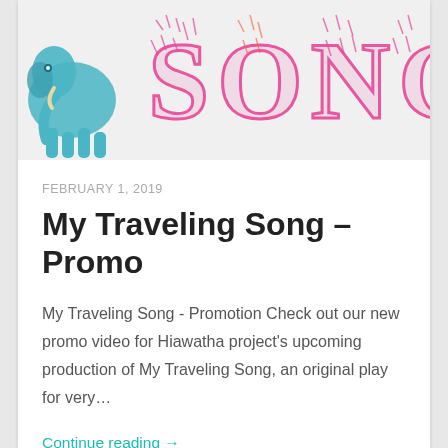[Figure (illustration): Header image showing 'SONG' in colorful hand-drawn lettering (pink/orange) with a teal illustrated elephant on the left side, cropped at the top of the page.]
FEBRUARY 1, 2019
My Traveling Song – Promo
My Traveling Song - Promotion Check out our new promo video for Hiawatha project's upcoming production of My Traveling Song, an original play for very…
Continue reading →